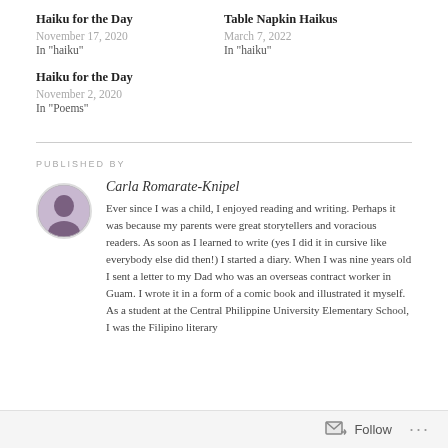Haiku for the Day
November 17, 2020
In "haiku"
Table Napkin Haikus
March 7, 2022
In "haiku"
Haiku for the Day
November 2, 2020
In "Poems"
PUBLISHED BY
Carla Romarate-Knipel
Ever since I was a child, I enjoyed reading and writing. Perhaps it was because my parents were great storytellers and voracious readers. As soon as I learned to write (yes I did it in cursive like everybody else did then!) I started a diary. When I was nine years old I sent a letter to my Dad who was an overseas contract worker in Guam. I wrote it in a form of a comic book and illustrated it myself. As a student at the Central Philippine University Elementary School, I was the Filipino literary
Follow